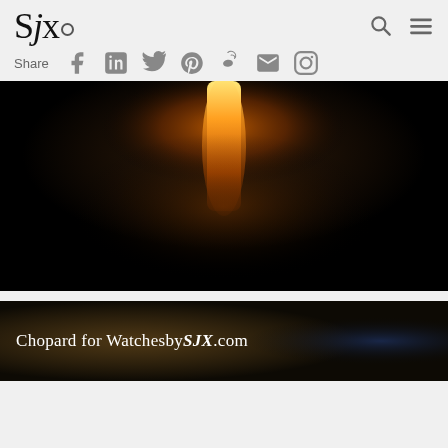SJX
Share
[Figure (photo): Dark photograph of a flame or torch glowing orange against a black background, possibly metalworking or casting process]
[Figure (photo): Partial second image with text overlay reading 'Chopard for WatchesbySJX.com', dark background with a person in blue visible at right]